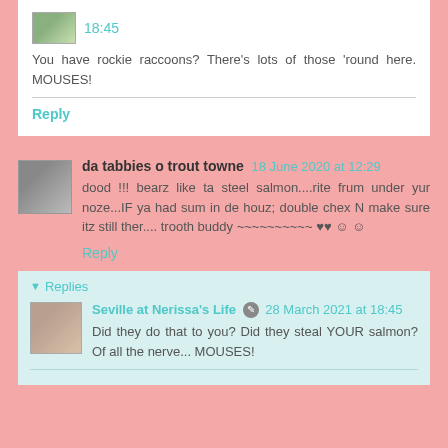18:45
You have rockie raccoons? There's lots of those 'round here. MOUSES!
Reply
da tabbies o trout towne 18 June 2020 at 12:29
dood !!! bearz like ta steel salmon....rite frum under yur noze...IF ya had sum in de houz; double chex N make sure itz still ther.... trooth buddy ~~~~~~~~~~ ♥♥ ☺ ☺
Reply
Replies
Seville at Nerissa's Life 28 March 2021 at 18:45
Did they do that to you? Did they steal YOUR salmon? Of all the nerve... MOUSES!